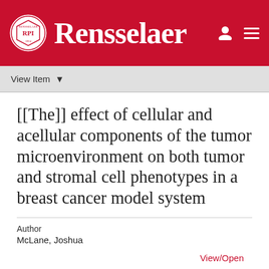Rensselaer
[[The]] effect of cellular and acellular components of the tumor microenvironment on both tumor and stromal cell phenotypes in a breast cancer model system
Author
McLane, Joshua
View/Open